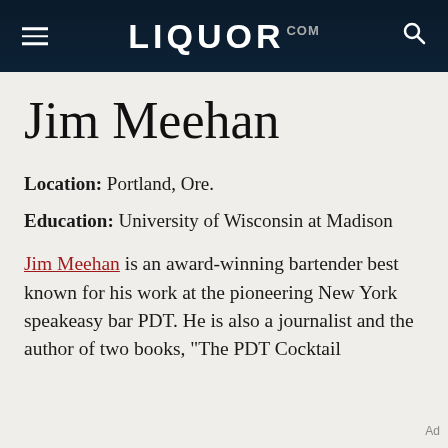LIQUOR.COM
Jim Meehan
Location: Portland, Ore.
Education: University of Wisconsin at Madison
Jim Meehan is an award-winning bartender best known for his work at the pioneering New York speakeasy bar PDT. He is also a journalist and the author of two books, "The PDT Cocktail